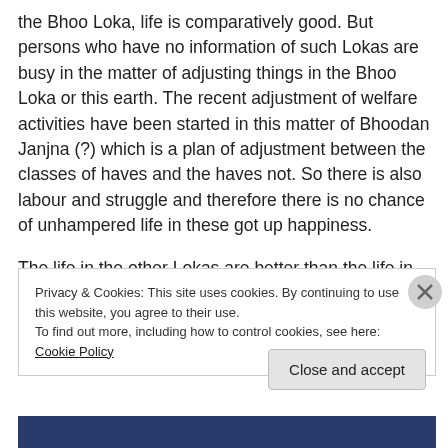the Bhoo Loka, life is comparatively good. But persons who have no information of such Lokas are busy in the matter of adjusting things in the Bhoo Loka or this earth. The recent adjustment of welfare activities have been started in this matter of Bhoodan Janjna (?) which is a plan of adjustment between the classes of haves and the haves not. So there is also labour and struggle and therefore there is no chance of unhampered life in these got up happiness.
The life in the other Lokas are better than the life in this
Privacy & Cookies: This site uses cookies. By continuing to use this website, you agree to their use.
To find out more, including how to control cookies, see here: Cookie Policy
Close and accept